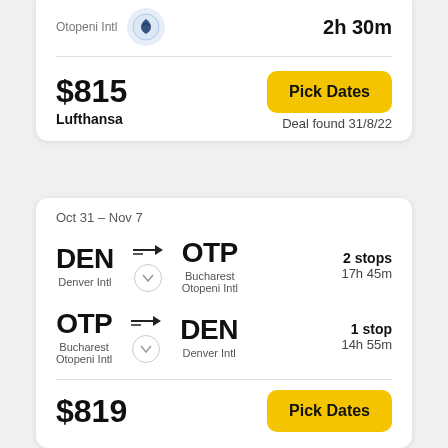[Figure (logo): Lufthansa crane logo in blue circle, partially visible at top]
2h 30m
$815
Lufthansa
Pick Dates
Deal found 31/8/22
Oct 31 - Nov 7
DEN → OTP
Denver Intl → Bucharest Otopeni Intl
2 stops
17h 45m
OTP → DEN
Bucharest Otopeni Intl → Denver Intl
1 stop
14h 55m
$819
Pick Dates